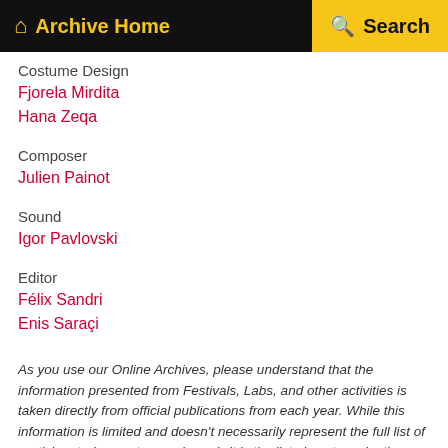Archive Home  Search
Costume Design
Fjorela Mirdita
Hana Zeqa
Composer
Julien Painot
Sound
Igor Pavlovski
Editor
Félix Sandri
Enis Saraçi
As you use our Online Archives, please understand that the information presented from Festivals, Labs, and other activities is taken directly from official publications from each year. While this information is limited and doesn't necessarily represent the full list of participants (e.g. actors and crew), it is the list given to us by the main filmmakers, but is not to be understood as complete or definitive.